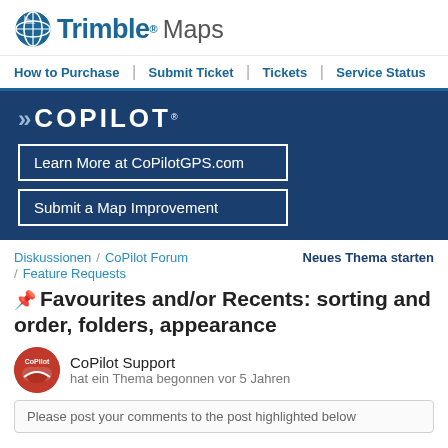[Figure (logo): Trimble Maps logo with globe icon, blue Trimble bold text and gray Maps text]
How to Purchase Submit Ticket Tickets Service Status
[Figure (logo): CoPilot banner with dark navy background, CoPilot logo, Learn More at CoPilotGPS.com button, Submit a Map Improvement button]
Diskussionen / CoPilot Forum / Feature Requests   Neues Thema starten
Favourites and/or Recents: sorting and order, folders, appearance
CoPilot Support hat ein Thema begonnen vor 5 Jahren
Please post your comments to the post highlighted below